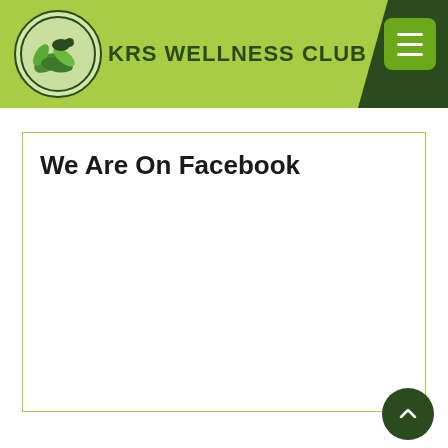KRS WELLNESS CLUB
We Are On Facebook